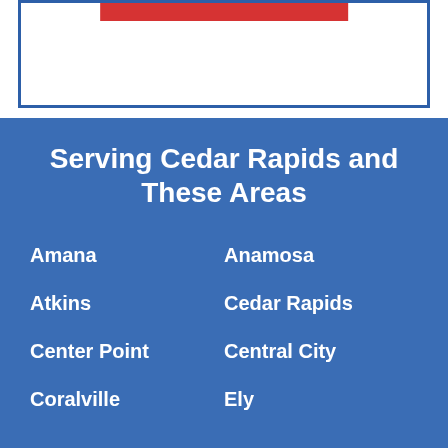[Figure (other): Top white section with blue border box containing a red bar at the top center]
Serving Cedar Rapids and These Areas
Amana
Anamosa
Atkins
Cedar Rapids
Center Point
Central City
Coralville
Ely